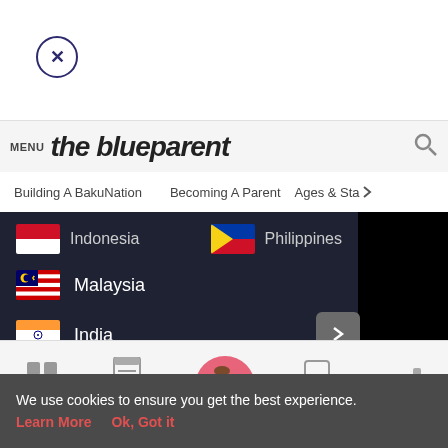[Figure (screenshot): Close button X in circle, top left of white area]
MENU theblueparent (search icon)
Building A BakuNation
Becoming A Parent
Ages & Sta >
[Figure (screenshot): Country selection menu on dark background showing Indonesia, Philippines, Malaysia, India flags with names]
[Figure (screenshot): Bottom navigation tab bar with Tools, Articles, home (pregnant woman icon), Feed, Poll icons]
We use cookies to ensure you get the best experience.
Learn More   Ok, Got it